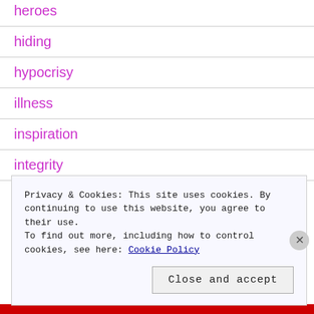heroes
hiding
hypocrisy
illness
inspiration
integrity
Privacy & Cookies: This site uses cookies. By continuing to use this website, you agree to their use.
To find out more, including how to control cookies, see here: Cookie Policy
Close and accept